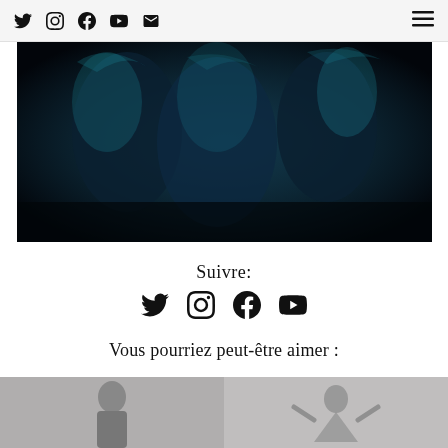Social media header bar with Twitter, Instagram, Facebook, YouTube, Email icons and hamburger menu
[Figure (photo): Dark blue-tinted photo of people dancing or moving in dim light, teal/cyan color cast]
Suivre:
[Figure (infographic): Social media follow icons: Twitter, Instagram, Facebook, YouTube]
Vous pourriez peut-être aimer :
[Figure (photo): Grayscale photo of a young man in dark t-shirt against light background]
[Figure (photo): Grayscale photo of a person forming a triangle shape with their arms above their head]